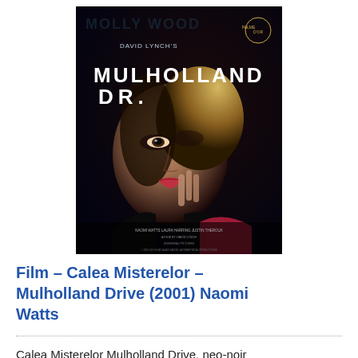[Figure (photo): Movie poster for Mulholland Dr. (2001) directed by David Lynch. Dark background with HOLLYWOOD text at top, 'DAVID LYNCH'S' subtitle, large white text 'MULHOLLAND DR.' with a woman's face (Naomi Watts) in dramatic close-up, red lips, blonde hair. Film credits at the bottom in small text.]
Film – Calea Misterelor – Mulholland Drive (2001) Naomi Watts
Calea Misterelor Mulholland Drive, neo-noir mister, film american, regia David Lynch; O nominalizare Oscar, 4 nominalizări Globul de Aur, o ...